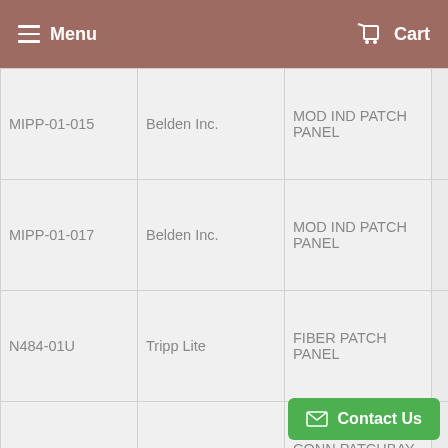Menu  Cart
| MIPP-01-015 | Belden Inc. | MOD IND PATCH PANEL |  |
| MIPP-01-017 | Belden Inc. | MOD IND PATCH PANEL |  |
| N484-01U | Tripp Lite | FIBER PATCH PANEL |  |
| OGPK116MB | Switchcraft | CONN PATCHBAY MALE |  |
Contact Us